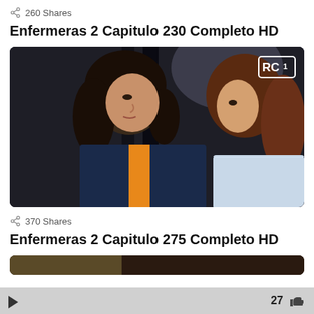260 Shares
Enfermeras 2 Capitulo 230 Completo HD
[Figure (photo): Video thumbnail showing two women facing each other in a dramatic scene, with RCN channel logo in top right corner]
370 Shares
Enfermeras 2 Capitulo 275 Completo HD
[Figure (photo): Partially visible video thumbnail at bottom of page]
27